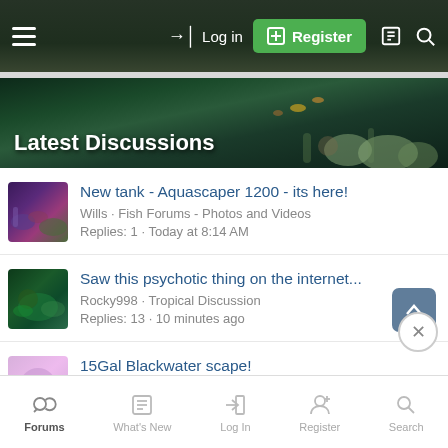Log in  Register
[Figure (screenshot): Dark teal aquarium banner with coral reef imagery and text 'Latest Discussions']
Latest Discussions
New tank - Aquascaper 1200 - its here!
Wills · Fish Forums - Photos and Videos
Replies: 1 · Today at 8:14 AM
Saw this psychotic thing on the internet...
Rocky998 · Tropical Discussion
Replies: 13 · 10 minutes ago
15Gal Blackwater scape!
Cromid · Tropical Discussion
Forums  What's New  Log In  Register  Search